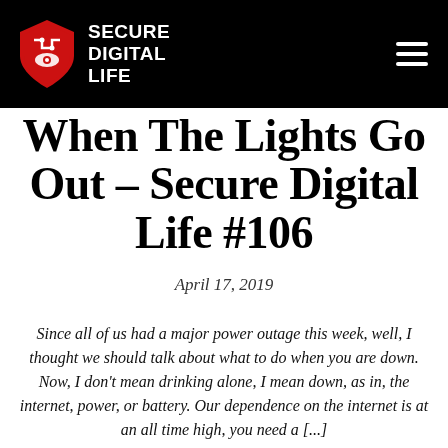[Figure (logo): Secure Digital Life logo — red shield with circuit/eye icon and white text reading SECURE DIGITAL LIFE]
When The Lights Go Out – Secure Digital Life #106
April 17, 2019
Since all of us had a major power outage this week, well, I thought we should talk about what to do when you are down. Now, I don't mean drinking alone, I mean down, as in, the internet, power, or battery. Our dependence on the internet is at an all time high, you need a [...]